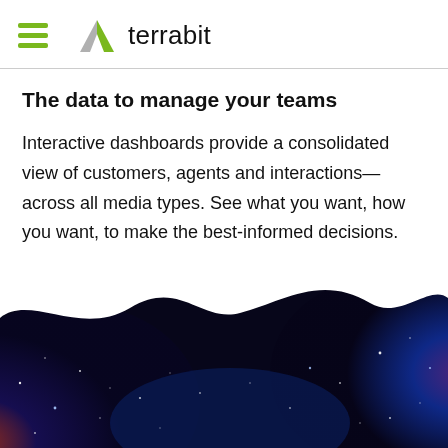terrabit
The data to manage your teams
Interactive dashboards provide a consolidated view of customers, agents and interactions—across all media types. See what you want, how you want, to make the best-informed decisions.
https://www.genesys.com/platform/purecloud
[Figure (illustration): Bottom decorative band showing a dark space/galaxy scene with blue and purple nebulae and stars, split by a wavy white silhouette dividing the upper white content area from the dark cosmic background.]